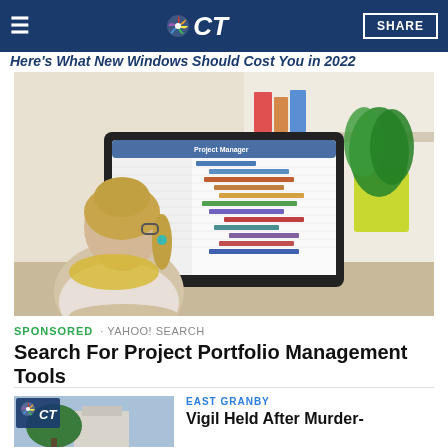CT · SHARE
Here's What New Windows Should Cost You in 2022
[Figure (photo): Woman with glasses and blonde hair viewed from behind, sitting at a desk looking at a desktop monitor displaying a project management Gantt chart application, with a green plant nearby.]
SPONSORED · YAHOO! SEARCH
Search For Project Portfolio Management Tools
EAST GRANBY
Vigil Held After Murder-